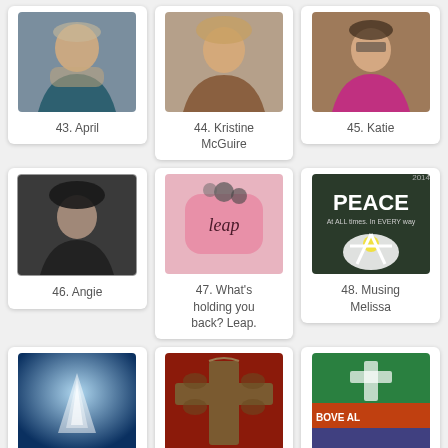[Figure (photo): Profile photo of a smiling woman with scarf, card labeled 43. April]
43. April
[Figure (photo): Profile photo of a smiling blonde woman, card labeled 44. Kristine McGuire]
44. Kristine McGuire
[Figure (photo): Profile photo of a woman with glasses and pink top, card labeled 45. Katie]
45. Katie
[Figure (photo): Black and white portrait of a woman with short dark hair, card labeled 46. Angie]
46. Angie
[Figure (photo): Pink water bottle with word 'leap' written on it and a bracelet, card labeled 47. What's holding you back? Leap.]
47. What's holding you back? Leap.
[Figure (photo): Image with word PEACE and a daisy flower, card labeled 48. Musing Melissa]
48. Musing Melissa
[Figure (photo): Underwater sunlight rays photo, card labeled 49. Serenity]
49. Serenity
[Figure (photo): Crown of thorns on red background, card labeled 50. My Word for 2014 - Ta Da!]
50. My Word for 2014 - Ta Da!
[Figure (photo): Colorful landscape with Christ the Redeemer statue, text ABOVE ALL, card labeled 51. See the Son]
51. See the Son